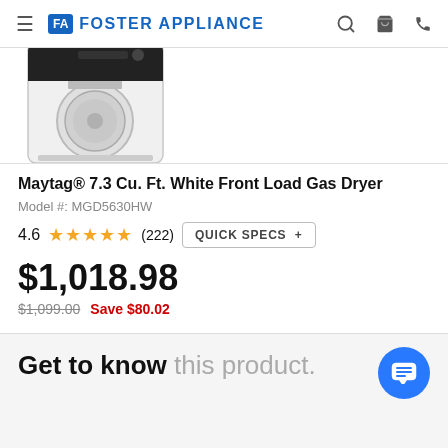Foster Appliance
[Figure (photo): Maytag white front load gas dryer, partially cropped showing top portion of the appliance]
Maytag® 7.3 Cu. Ft. White Front Load Gas Dryer
Model #: MGD5630HW
4.6 ★★★★★ (222) QUICK SPECS +
$1,018.98
$1,099.00 Save $80.02
Get to know this product.